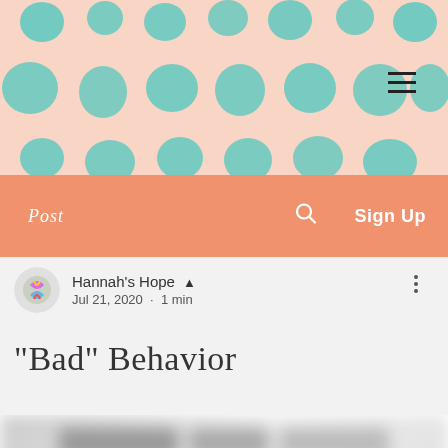[Figure (illustration): Website header banner with peach/salmon background and teal watercolor dot pattern, with hamburger menu icon in top right]
Post   🔍   Sign Up
Hannah's Hope 👑
Jul 21, 2020 · 1 min
"Bad" Behavior
[Figure (screenshot): Blurred content below the article, showing other posts or related content]